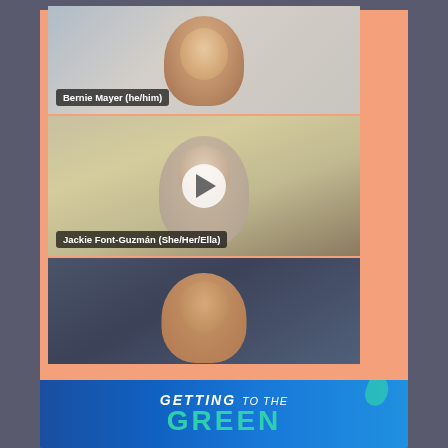[Figure (screenshot): Screenshot of a video call with three participants stacked vertically. Top panel shows Bernie Mayer (he/him) — older man with glasses in a home office. Middle panel shows Jackie Font-Guzmán (She/Her/Ella) — person in a plaid shirt in an office with a whiteboard, with a play button overlay. Bottom panel shows a woman with dark hair against a dark blue background. A pink/salmon decorative border surrounds the three panels.]
Bernie Mayer (he/him)
Jackie Font-Guzmán (She/Her/Ella)
[Figure (screenshot): Partial view of a banner reading 'GETTING to the GREEN' in white italic and large teal bold letters on a blue background.]